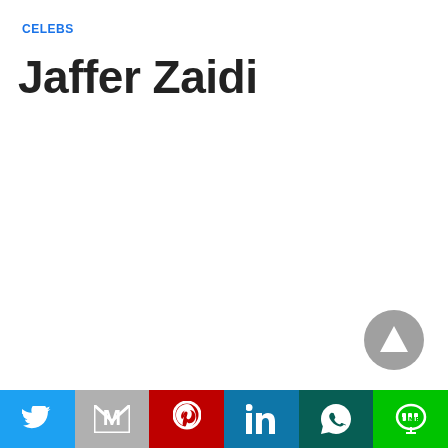CELEBS
Jaffer Zaidi
[Figure (other): Scroll-to-top button: grey circle with upward-pointing triangle/arrow]
Social share bar: Twitter, Gmail/Email, Pinterest, LinkedIn, WhatsApp, LINE